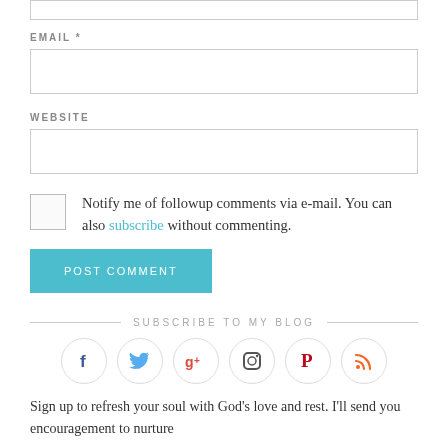[Figure (screenshot): Partial form input field at top of page (top border of an input box, cut off)]
EMAIL *
[Figure (screenshot): Email input field (empty text box)]
WEBSITE
[Figure (screenshot): Website input field (empty text box)]
Notify me of followup comments via e-mail. You can also subscribe without commenting.
POST COMMENT
SUBSCRIBE TO MY BLOG
[Figure (infographic): Social media icons in circles: Facebook (blue f), Twitter (blue bird), Google+ (red g+), Instagram (camera), Pinterest (red P), RSS (orange RSS)]
Sign up to refresh your soul with God's love and rest. I'll send you encouragement to nurture